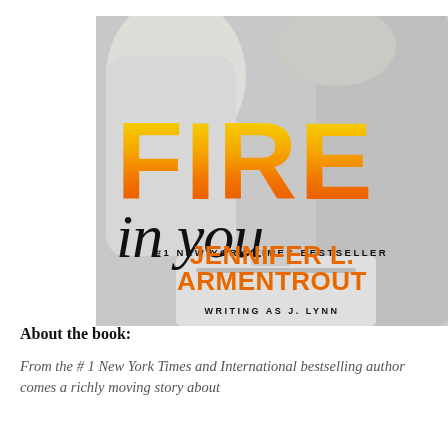[Figure (photo): Book cover of 'Fire in You' by Jennifer L. Armentrout writing as J. Lynn. Black and white photo of two people in an intimate embrace. Large gradient yellow-to-orange text 'FIRE' with italic script 'in you' below. Text at bottom: '#1 NEW YORK TIMES BESTSELLER', 'JENNIFER L. ARMENTROUT', 'WRITING AS J. LYNN'.]
About the book:
From the # 1 New York Times and International bestselling author comes a richly moving story about